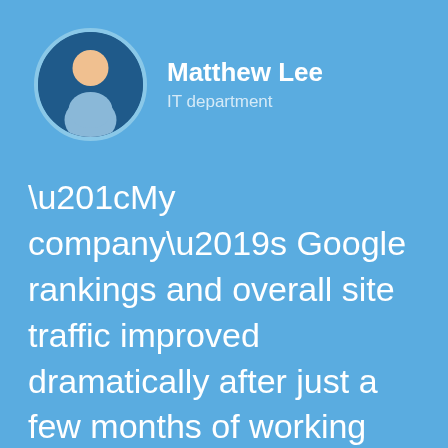[Figure (illustration): Circular avatar of a person (Matthew Lee) with dark blue background and light border, showing a generic male silhouette figure in light blue/tan colors]
Matthew Lee
IT department
“My company’s Google rankings and overall site traffic improved dramatically after just a few months of working with this agency. The service we’ve received from their team has